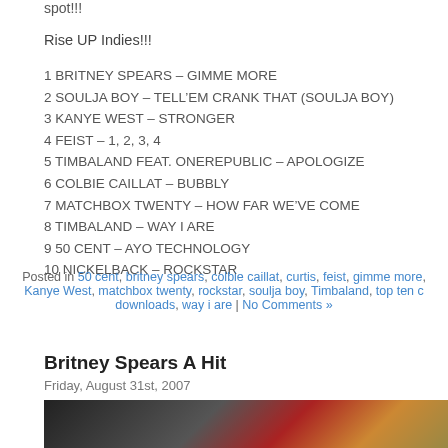spot!!!
Rise UP Indies!!!
1 BRITNEY SPEARS – GIMME MORE
2 SOULJA BOY – TELL'EM CRANK THAT (SOULJA BOY)
3 KANYE WEST – STRONGER
4 FEIST – 1, 2, 3, 4
5 TIMBALAND FEAT. ONEREPUBLIC – APOLOGIZE
6 COLBIE CAILLAT – BUBBLY
7 MATCHBOX TWENTY – HOW FAR WE'VE COME
8 TIMBALAND – WAY I ARE
9 50 CENT – AYO TECHNOLOGY
10 NICKELBACK – ROCKSTAR
Posted in 50 cent, britney spears, colbie caillat, curtis, feist, gimme more, Kanye West, matchbox twenty, rockstar, soulja boy, Timbaland, top ten c downloads, way i are | No Comments »
Britney Spears A Hit
Friday, August 31st, 2007
[Figure (photo): Photo of a person in a car, partially visible]